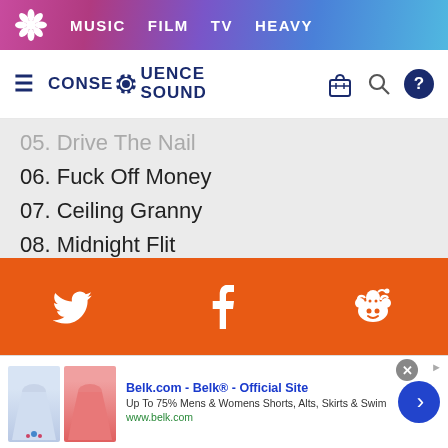MUSIC  FILM  TV  HEAVY
[Figure (logo): Consequence Sound website logo with hamburger menu and icons]
05. Drive The Nail
06. Fuck Off Money
07. Ceiling Granny
08. Midnight Flit
09. Pat Stains
10. Supposedly, We Were Nightmares
11. It's What I Want To Do, Mum
[Figure (infographic): Orange social sharing bar with Twitter, Facebook, and Reddit icons]
[Figure (screenshot): Belk.com advertisement banner: Up To 75% Mens & Womens Shorts, Alts, Skirts & Swim, www.belk.com]